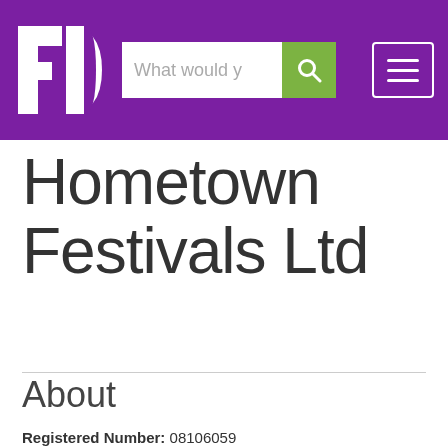[Figure (screenshot): Purple navigation header bar with FD logo on the left, a search input box with green search button in the center, and a hamburger menu button on the right]
Hometown Festivals Ltd
About
Registered Number: 08106059
Date of Incorporation: 14/06/2012 (10 years and 2 months ago)
Company Status: Active
Registered Address: Benella House, 25 Stafford Road,